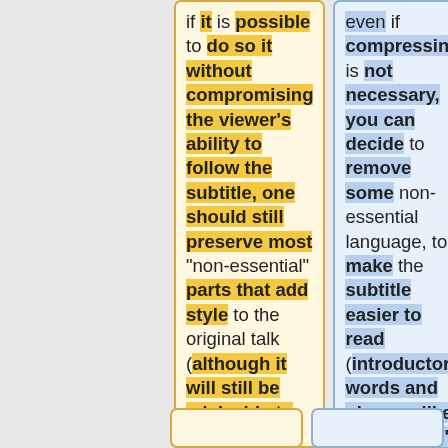if it is possible to do so it without compromising the viewer's ability to follow the subtitle, one should still preserve most "non-essential" parts that add style to the original talk (although it will still be advisable to remove accidental repetitions, slips of the tongue, etc.).
even if compressing is not necessary, you can decide to remove some non-essential language, to make the subtitle easier to read (introductory words and phrases like "now then," slips of the tongue, unintentional repetitions).